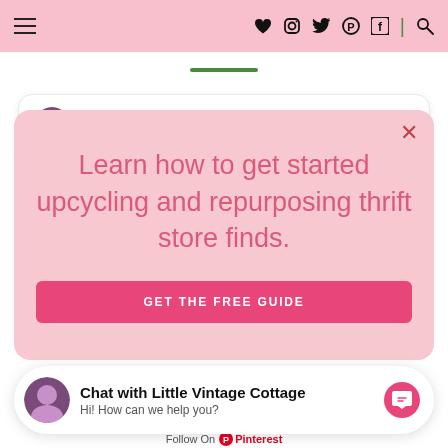Little Vintage Cottage — navigation bar with social icons
[Figure (screenshot): Pink navigation bar with hamburger menu on left and social icons (heart, Instagram, Twitter, Pinterest, Facebook, search) on right]
Little Vintage Cottage
Learn how to get started upcycling and repurposing thrift store finds.
GET THE FREE GUIDE
Chat with Little Vintage Cottage
Hi! How can we help you?
Follow On Pinterest